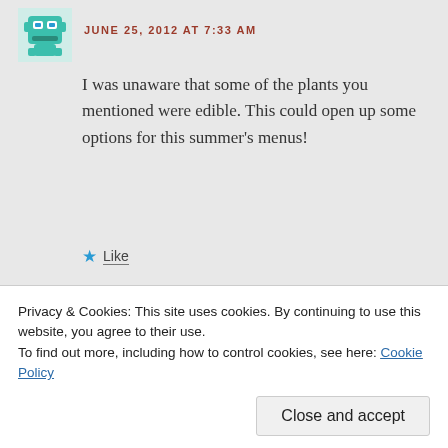JUNE 25, 2012 AT 7:33 AM
I was unaware that some of the plants you mentioned were edible. This could open up some options for this summer's menus!
Like
llonmom
JUNE 25, 2012 AT 9:04 AM
Privacy & Cookies: This site uses cookies. By continuing to use this website, you agree to their use.
To find out more, including how to control cookies, see here: Cookie Policy
Close and accept
edibles, though. I plant to expand my own